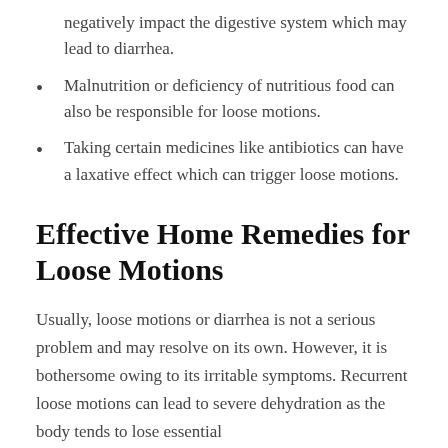negatively impact the digestive system which may lead to diarrhea.
Malnutrition or deficiency of nutritious food can also be responsible for loose motions.
Taking certain medicines like antibiotics can have a laxative effect which can trigger loose motions.
Effective Home Remedies for Loose Motions
Usually, loose motions or diarrhea is not a serious problem and may resolve on its own. However, it is bothersome owing to its irritable symptoms. Recurrent loose motions can lead to severe dehydration as the body tends to lose essential